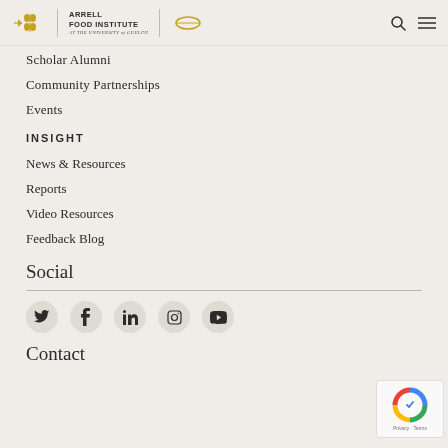Arrell Food Institute at the University of Guelph
Scholar Alumni
Community Partnerships
Events
INSIGHT
News & Resources
Reports
Video Resources
Feedback Blog
Social
[Figure (other): Social media icons: Twitter, Facebook, LinkedIn, Instagram, YouTube]
Contact